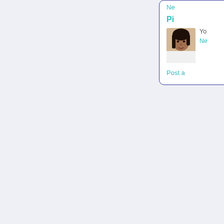Ne
Pi
[Figure (photo): Profile photo of a woman with dark hair, wearing a white top]
Yo
Ne
Post a
Newer P
Cinnam
Hello Eve pleasures cream che